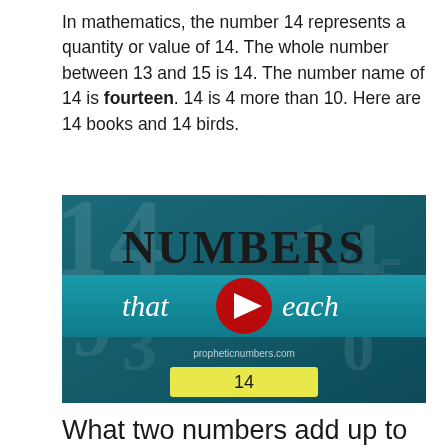In mathematics, the number 14 represents a quantity or value of 14. The whole number between 13 and 15 is 14. The number name of 14 is fourteen. 14 is 4 more than 10. Here are 14 books and 14 birds.
[Figure (screenshot): YouTube video thumbnail for 'Numbers that Teach' from propheticnumbers.com, showing teal/dark background with large numbers, the word NUMBERS at top, 'that teach' on a teal bar with YouTube play button, website URL, and a yellow rectangle showing '14' at the bottom.]
What two numbers add up to 14?